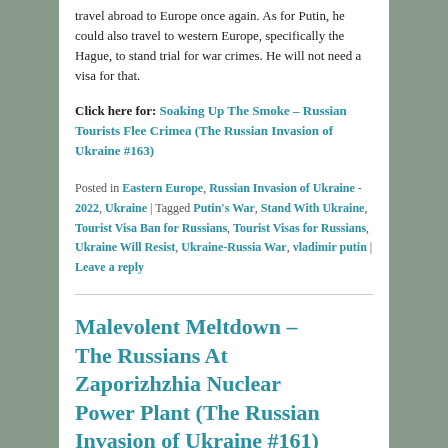travel abroad to Europe once again. As for Putin, he could also travel to western Europe, specifically the Hague, to stand trial for war crimes. He will not need a visa for that.
Click here for: Soaking Up The Smoke – Russian Tourists Flee Crimea (The Russian Invasion of Ukraine #163)
Posted in Eastern Europe, Russian Invasion of Ukraine - 2022, Ukraine | Tagged Putin's War, Stand With Ukraine, Tourist Visa Ban for Russians, Tourist Visas for Russians, Ukraine Will Resist, Ukraine-Russia War, vladimir putin | Leave a reply
Malevolent Meltdown – The Russians At Zaporizhzhia Nuclear Power Plant (The Russian Invasion of Ukraine #161)